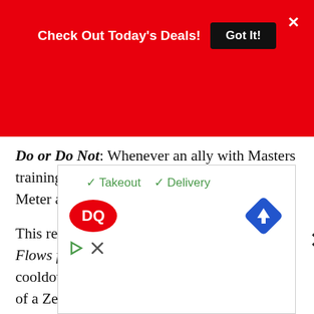Check Out Today's Deals! Got It! ×
Do or Do Not: Whenever an ally with Masters training is defeated, Yoda gains 100% Turn Meter and resets all of his cool downs.

This review is going to focus on Strength Flows from the Force. In short, resetting cooldowns when an ally dies is a terrible use of a Zeta, if your team is dropping you are losing that fight anyway. Thus, resetting cooldowns does not matter much if the cooldowns did not need resetting.

Con... spe... mal bene... o I nev... ld be worth it unless you have more than you know
[Figure (screenshot): Dairy Queen advertisement overlay showing checkmarks for Takeout and Delivery, DQ logo, navigation/map icon, play button and close icon]